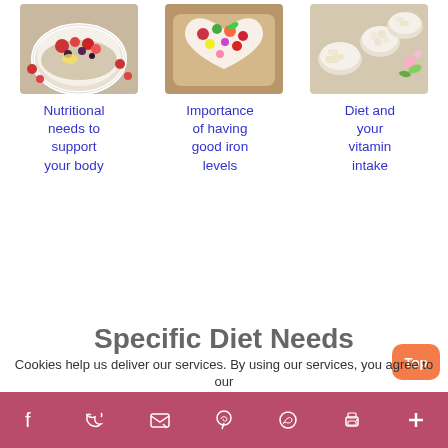[Figure (photo): Bowl of food with fruits, berries, grains]
[Figure (photo): Heart-shaped dish with colorful fruits and vegetables]
[Figure (photo): Various supplement pills and capsules in bowls]
Nutritional needs to support your body
Importance of having good iron levels
Diet and your vitamin intake
Specific Diet Needs
Cookies help us deliver our services. By using our services, you agree to our
Social media icons: Facebook, Twitter, Email, Pinterest, WhatsApp, Print, More